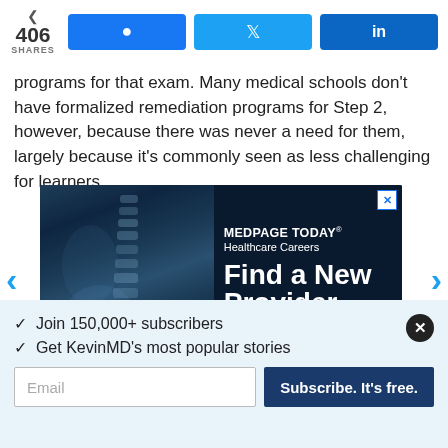406 SHARES
programs for that exam. Many medical schools don't have formalized remediation programs for Step 2, however, because there was never a need for them, largely because it's commonly seen as less challenging for learners.
[Figure (screenshot): Advertisement for MedPage Today Healthcare Careers showing an X-ray image and text 'Find a New Provider']
✓  Join 150,000+ subscribers
✓  Get KevinMD's most popular stories